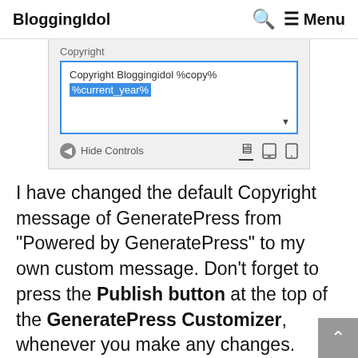BloggingIdol   🔍   ≡ Menu
[Figure (screenshot): WordPress Customizer panel showing Copyright field with text 'Copyright Bloggingidol %copy% %current_year%' in a text input box, with Hide Controls button and device icons (desktop, tablet, mobile) below.]
I have changed the default Copyright message of GeneratePress from "Powered by GeneratePress" to my own custom message. Don't forget to press the Publish button at the top of the GeneratePress Customizer, whenever you make any changes.
That's it, removing powered by